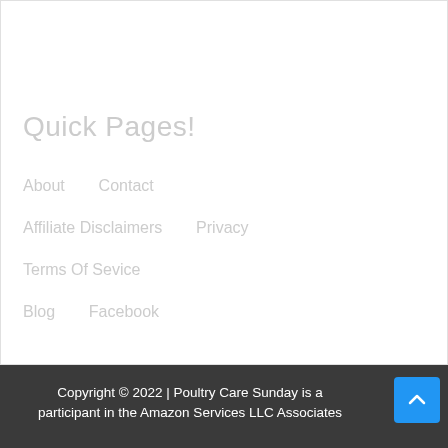Quick Pages!
About   Contact
Affiliate Disclaimers   Privacy
Terms Of Sevice
Blog   Facebook
Copyright © 2022 | Poultry Care Sunday is a participant in the Amazon Services LLC Associates